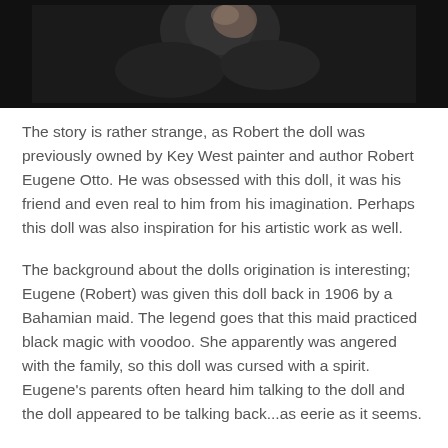[Figure (photo): A dark photograph showing what appears to be a doll or figure being held, with dark background.]
The story is rather strange, as Robert the doll was previously owned by Key West painter and author Robert Eugene Otto. He was obsessed with this doll, it was his friend and even real to him from his imagination. Perhaps this doll was also inspiration for his artistic work as well.
The background about the dolls origination is interesting; Eugene (Robert) was given this doll back in 1906 by a Bahamian maid. The legend goes that this maid practiced black magic with voodoo. She apparently was angered with the family, so this doll was cursed with a spirit. Eugene's parents often heard him talking to the doll and the doll appeared to be talking back...as eerie as it seems.